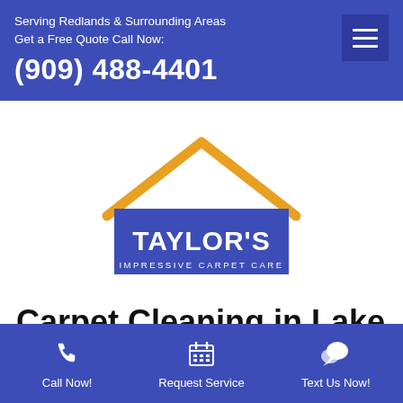Serving Redlands & Surrounding Areas
Get a Free Quote Call Now:
(909) 488-4401
[Figure (logo): Taylor's Impressive Carpet Care logo — a house silhouette in blue with a golden roof outline, white bold text 'TAYLOR'S' and smaller spaced text 'IMPRESSIVE CARPET CARE']
Carpet Cleaning in Lake Elsinore, CA
Call Now! | Request Service | Text Us Now!